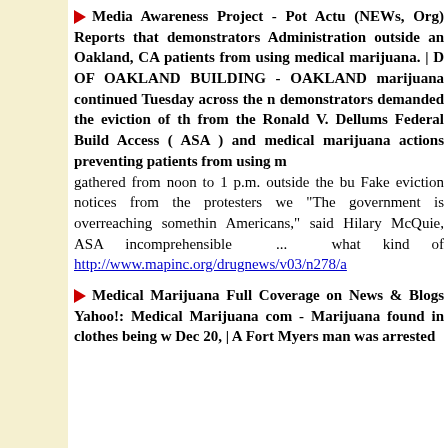Media Awareness Project - Pot Actu (NEWs, Org) Reports that demonstrators Administration outside an Oakland, CA patients from using medical marijuana. | DEMO OF OAKLAND BUILDING - OAKLAND marijuana continued Tuesday across the n demonstrators demanded the eviction of th from the Ronald V. Dellums Federal Build Access ( ASA ) and medical marijuana actions preventing patients from using m gathered from noon to 1 p.m. outside the bu Fake eviction notices from the protesters we "The government is overreaching somethin Americans," said Hilary McQuie, ASA incomprehensible ... what kind of http://www.mapinc.org/drugnews/v03/n278/a
Medical Marijuana Full Coverage on News & Blogs Yahoo!: Medical Marijuana com - Marijuana found in clothes being w Dec 20, | A Fort Myers man was arrested